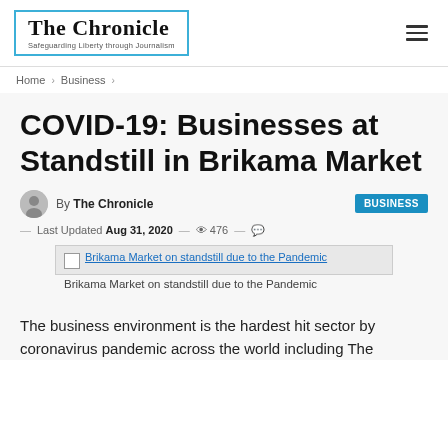The Chronicle — Safeguarding Liberty through Journalism
Home > Business >
COVID-19: Businesses at Standstill in Brikama Market
By The Chronicle
BUSINESS
— Last Updated Aug 31, 2020 — 476 —
[Figure (photo): Broken image placeholder with alt text: Brikama Market on standstill due to the Pandemic]
Brikama Market on standstill due to the Pandemic
The business environment is the hardest hit sector by coronavirus pandemic across the world including The